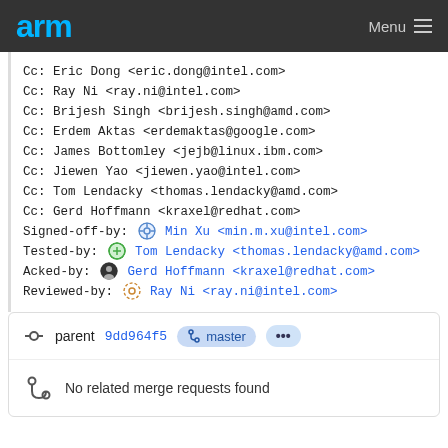arm — Menu
Cc: Eric Dong <eric.dong@intel.com>
Cc: Ray Ni <ray.ni@intel.com>
Cc: Brijesh Singh <brijesh.singh@amd.com>
Cc: Erdem Aktas <erdemaktas@google.com>
Cc: James Bottomley <jejb@linux.ibm.com>
Cc: Jiewen Yao <jiewen.yao@intel.com>
Cc: Tom Lendacky <thomas.lendacky@amd.com>
Cc: Gerd Hoffmann <kraxel@redhat.com>
Signed-off-by: Min Xu <min.m.xu@intel.com>
Tested-by: Tom Lendacky <thomas.lendacky@amd.com>
Acked-by: Gerd Hoffmann <kraxel@redhat.com>
Reviewed-by: Ray Ni <ray.ni@intel.com>
parent 9dd964f5  master  ...
No related merge requests found